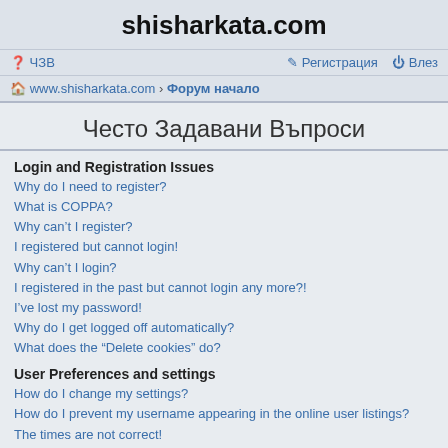shisharkata.com
❓ ЧЗВ   ✏ Регистрация  ⏻ Влез
🏠 www.shisharkata.com › Форум начало
Често Задавани Въпроси
Login and Registration Issues
Why do I need to register?
What is COPPA?
Why can't I register?
I registered but cannot login!
Why can't I login?
I registered in the past but cannot login any more?!
I've lost my password!
Why do I get logged off automatically?
What does the “Delete cookies” do?
User Preferences and settings
How do I change my settings?
How do I prevent my username appearing in the online user listings?
The times are not correct!
I changed the timezone and the time is still wrong!
My language is not in the list!
What are the images next to my username?
How do I display an avatar?